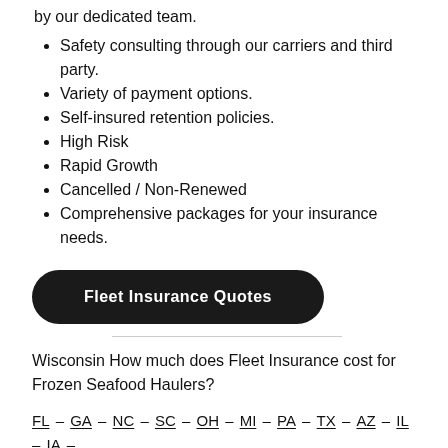by our dedicated team.
Safety consulting through our carriers and third party.
Variety of payment options.
Self-insured retention policies.
High Risk
Rapid Growth
Cancelled / Non-Renewed
Comprehensive packages for your insurance needs.
Fleet Insurance Quotes
Wisconsin How much does Fleet Insurance cost for Frozen Seafood Haulers?
FL – GA – NC – SC – OH – MI – PA – TX – AZ – IL – IA –